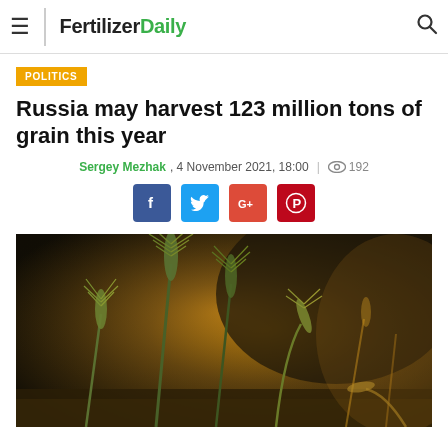FertilizerDaily
POLITICS
Russia may harvest 123 million tons of grain this year
Sergey Mezhak, 4 November 2021, 18:00 | 192
[Figure (photo): Close-up photo of green and golden wheat ears/spikes against a dark warm bokeh background, suggesting a field at golden hour.]